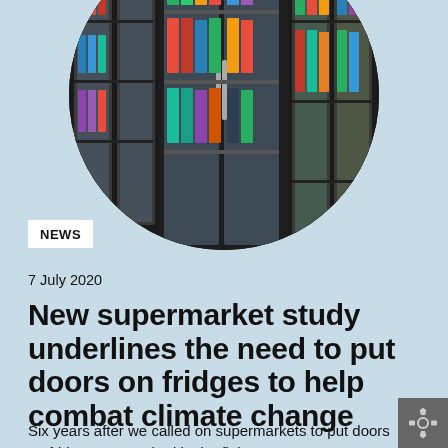[Figure (photo): Circular cropped photo of supermarket refrigerator aisles with glass doors, showing chilled food products on shelves]
NEWS
7 July 2020
New supermarket study underlines the need to put doors on fridges to help combat climate change
Six years after we called on supermarkets to put doors on fridges as standard in the fight